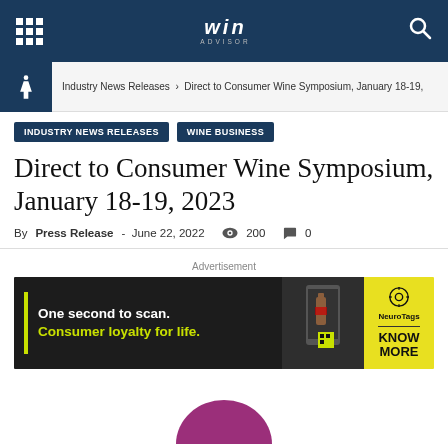WIN ADVISOR — navigation header
Industry News Releases > Direct to Consumer Wine Symposium, January 18-19,
INDUSTRY NEWS RELEASES
WINE BUSINESS
Direct to Consumer Wine Symposium, January 18-19, 2023
By Press Release - June 22, 2022  200  0
Advertisement
[Figure (photo): Advertisement banner: 'One second to scan. Consumer loyalty for life.' with NeuroTags branding and a phone scanning a wine bottle QR code. KNOW MORE call to action.]